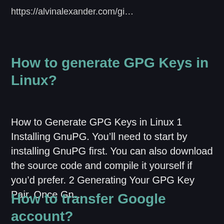https://alvinalexander.com/gi…
How to generate GPG Keys in Linux?
How to Generate GPG Keys in Linux 1 Installing GnuPG. You’ll need to start by installing GnuPG first. You can also download the source code and compile it yourself if you’d prefer. 2 Generating Your GPG Key Pair. Once Gn…
How to transfer Google account?
Transfer…